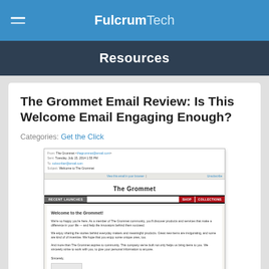FulcrumTech
Resources
The Grommet Email Review: Is This Welcome Email Engaging Enough?
Categories: Get the Click
[Figure (screenshot): Screenshot of The Grommet welcome email showing email headers, navigation bar with logo, RECENT LAUNCHES and SHOP COLLECTIONS tabs, and body text welcoming the reader to The Grommet.]
Review without the...